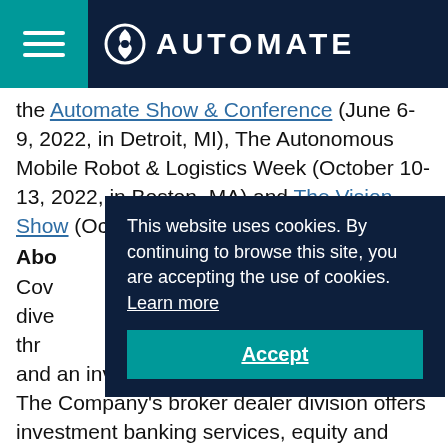AUTOMATE
the Automate Show & Conference (June 6-9, 2022, in Detroit, MI), The Autonomous Mobile Robot & Logistics Week (October 10-13, 2022, in Boston, MA) and The Vision Show (October 11-13, 2022, in Boston,
Abo
This website uses cookies. By continuing to browse this site, you are accepting the use of cookies. Learn more
Accept
Cov... dive... thr... and an investment management division. The Company's broker dealer division offers investment banking services, equity and credit research, sales and trading, prime brokerage, global clearing, and